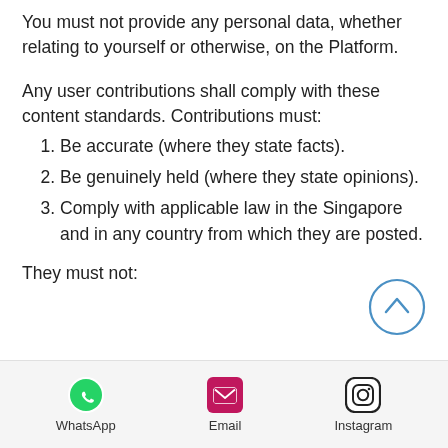You must not provide any personal data, whether relating to yourself or otherwise, on the Platform.
Any user contributions shall comply with these content standards. Contributions must:
Be accurate (where they state facts).
Be genuinely held (where they state opinions).
Comply with applicable law in the Singapore and in any country from which they are posted.
They must not:
[Figure (other): Scroll-to-top button: circle with upward chevron arrow in blue outline]
[Figure (infographic): Mobile app share/social footer bar with three icons: WhatsApp (green speech bubble), Email (magenta envelope), Instagram (camera outline)]